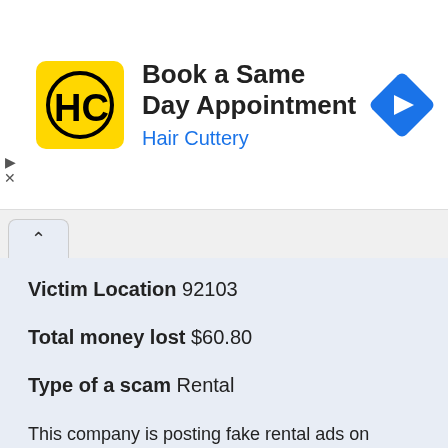[Figure (screenshot): Hair Cuttery advertisement banner: yellow logo with HC monogram, text 'Book a Same Day Appointment' and 'Hair Cuttery' in blue, blue diamond navigation arrow icon on right]
Victim Location 92103
Total money lost $60.80
Type of a scam Rental
This company is posting fake rental ads on craigslist and asking you to obtain your credit report through this site before viewing the property. They will continually charge your credit card that you used to purchase the initial credit